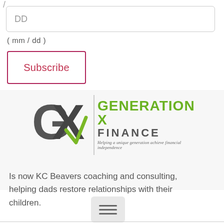/
DD
( mm / dd )
Subscribe
[Figure (logo): Generation X Finance logo with GX monogram and tagline: Helping a unique generation achieve financial independence]
Is now KC Beavers coaching and consulting, helping dads restore relationships with their children.
[Figure (other): Hamburger menu button icon with three horizontal lines]